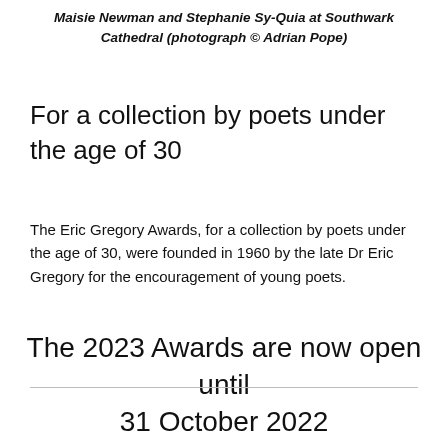Maisie Newman and Stephanie Sy-Quia at Southwark Cathedral (photograph © Adrian Pope)
For a collection by poets under the age of 30
The Eric Gregory Awards, for a collection by poets under the age of 30, were founded in 1960 by the late Dr Eric Gregory for the encouragement of young poets.
The 2023 Awards are now open until
31 October 2022